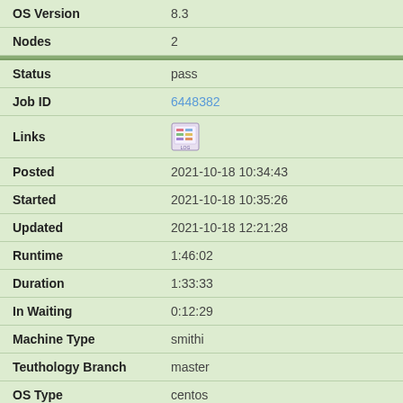| OS Version | 8.3 |
| Nodes | 2 |
| Status | pass |
| Job ID | 6448382 |
| Links | [LOG icon] |
| Posted | 2021-10-18 10:34:43 |
| Started | 2021-10-18 10:35:26 |
| Updated | 2021-10-18 12:21:28 |
| Runtime | 1:46:02 |
| Duration | 1:33:33 |
| In Waiting | 0:12:29 |
| Machine Type | smithi |
| Teuthology Branch | master |
| OS Type | centos |
| OS Version | 8.0 |